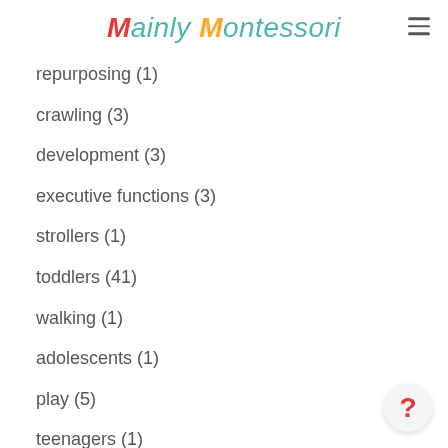Mainly Montessori
repurposing (1)
crawling (3)
development (3)
executive functions (3)
strollers (1)
toddlers (41)
walking (1)
adolescents (1)
play (5)
teenagers (1)
work (4)